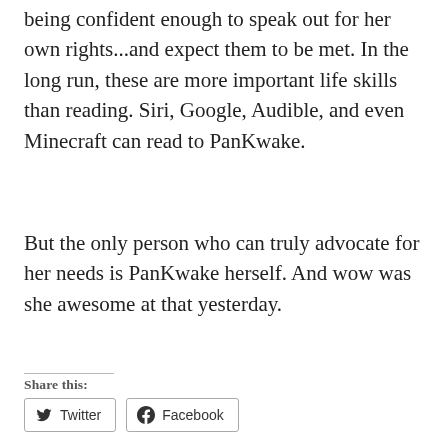being confident enough to speak out for her own rights...and expect them to be met. In the long run, these are more important life skills than reading. Siri, Google, Audible, and even Minecraft can read to PanKwake.
But the only person who can truly advocate for her needs is PanKwake herself. And wow was she awesome at that yesterday.
Share this:
Twitter  Facebook